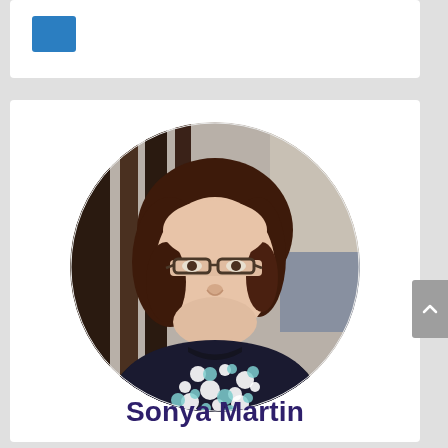[Figure (logo): Partial white card with a blue square/rectangle logo element visible at the top of the page]
[Figure (photo): Circular profile photo of Sonya Martin, a woman with short brown hair and glasses, wearing a dark polka dot sleeveless top, smiling, with a blurred indoor background]
Sonya Martin